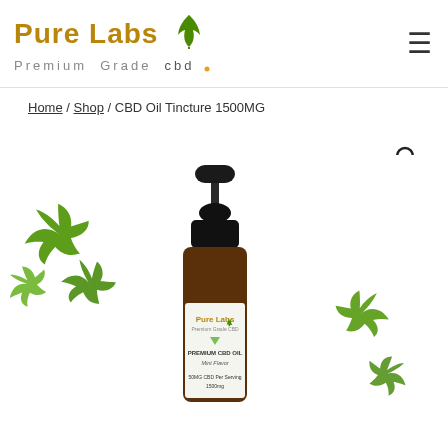Pure Labs Premium Grade CBD [logo with leaf]
Home / Shop / CBD Oil Tincture 1500MG
[Figure (photo): CBD Oil Tincture 1500MG product photo: a dark amber glass dropper bottle labeled 'Pure Labs Premium Grade CBD – PREMIUM CBD OIL Mint Flavor – 50MG CBD Per Serving – 1500mg', surrounded by green cannabis leaves on a white background.]